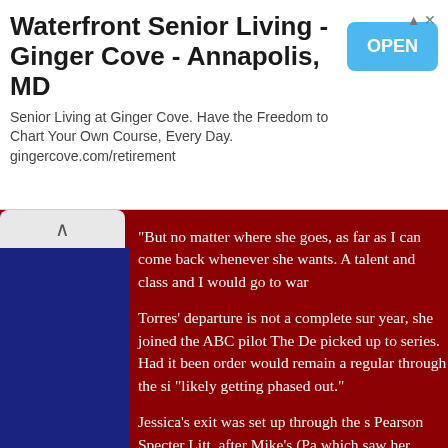[Figure (other): Advertisement banner for Waterfront Senior Living - Ginger Cove - Annapolis, MD with OPEN button]
But no matter where she goes, as far as I can come back whenever she wants. A talent and class and I would go to war
Torres' departure is not a complete sur year, she joined the ABC pilot The De picked up to series. Had it been order would remain a regular through the si "likely getting phased out."
Jessica's exit was set up through the s Pearson Specter Litt, after Mike's (Pa which saw her defending death-row in (Meghan Markle). On Wednesday's m killer cross-examination but simultane turned down Robert Zane's (Wendell instead handed PSL over to Harvey (C move to Chicago with Jeff (D.B. Woo
"I forgot why I became a lawyer in th power," she said. "It was to fight for